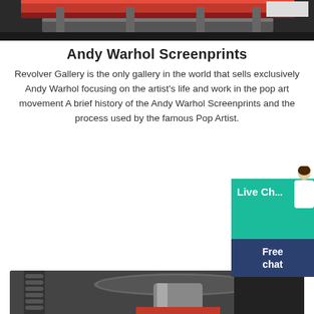[Figure (photo): Top portion of industrial/printing machinery, showing red metal frame and dark mechanical components, partially cropped at top of page]
Andy Warhol Screenprints
Revolver Gallery is the only gallery in the world that sells exclusively Andy Warhol focusing on the artist's life and work in the pop art movement A brief history of the Andy Warhol Screenprints and the process used by the famous Pop Artist.
[Figure (screenshot): Live Chat widget with green background showing 'Live Ch...' text, a figure of a person, and a dark blue 'Free chat' button below]
[Figure (photo): Close-up photograph of industrial printing press machinery showing dark metal mechanical parts, cylindrical components, and belts/pulleys]